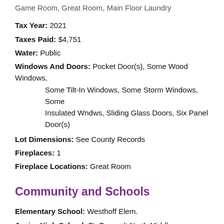Game Room, Great Room, Main Floor Laundry
Tax Year: 2021
Taxes Paid: $4,751
Water: Public
Windows And Doors: Pocket Door(s), Some Wood Windows, Some Tilt-In Windows, Some Storm Windows, Some Insulated Wndws, Sliding Glass Doors, Six Panel Door(s)
Lot Dimensions: See County Records
Fireplaces: 1
Fireplace Locations: Great Room
Community and Schools
Elementary School: Westhoff Elem.
Junior High School: Ft. Zumwalt North Middle
Senior High School: Ft. Zumwalt North High
Price History of 1125 Renfrew Lane, O'Fallon, MO